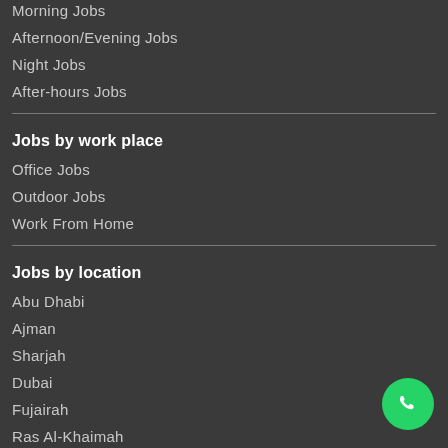Morning Jobs
Afternoon/Evening Jobs
Night Jobs
After-hours Jobs
Jobs by work place
Office Jobs
Outdoor Jobs
Work From Home
Jobs by location
Abu Dhabi
Ajman
Sharjah
Dubai
Fujairah
Ras Al-Khaimah
Umm Al Quwain
Al Ain